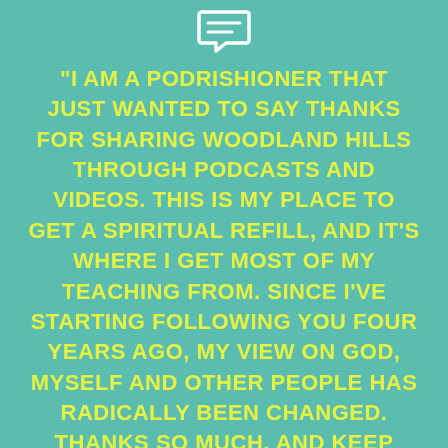[Figure (illustration): A small white speech bubble / message icon outline at the top center of the page]
"I AM A PODRISHIONER THAT JUST WANTED TO SAY THANKS FOR SHARING WOODLAND HILLS THROUGH PODCASTS AND VIDEOS. THIS IS MY PLACE TO GET A SPIRITUAL REFILL, AND IT'S WHERE I GET MOST OF MY TEACHING FROM. SINCE I'VE STARTING FOLLOWING YOU FOUR YEARS AGO, MY VIEW ON GOD, MYSELF AND OTHER PEOPLE HAS RADICALLY BEEN CHANGED. THANKS SO MUCH, AND KEEP